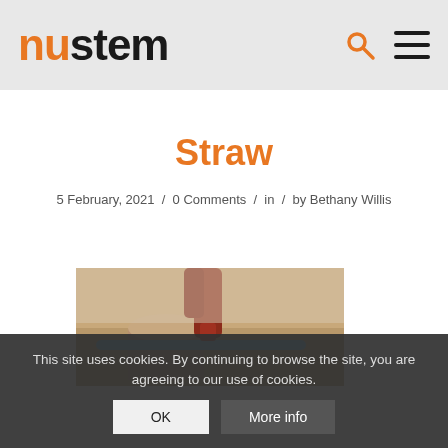nustem
Straw
5 February, 2021 / 0 Comments / in / by Bethany Willis
[Figure (photo): A person using a glue gun near a cardboard tube and a blue straw on a wooden surface.]
This site uses cookies. By continuing to browse the site, you are agreeing to our use of cookies.